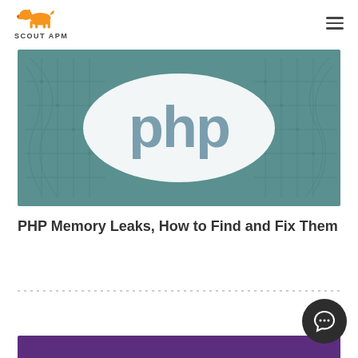Scout APM
[Figure (illustration): PHP logo (text 'php' inside a white oval) on a teal/green background with circuit-board style line patterns]
PHP Memory Leaks, How to Find and Fix Them